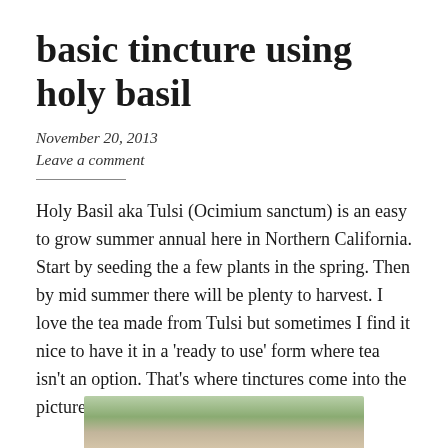basic tincture using holy basil
November 20, 2013
Leave a comment
Holy Basil aka Tulsi (Ocimium sanctum) is an easy to grow summer annual here in Northern California. Start by seeding the a few plants in the spring. Then by mid summer there will be plenty to harvest. I love the tea made from Tulsi but sometimes I find it nice to have it in a ‘ready to use’ form where tea isn’t an option. That’s where tinctures come into the picture.
[Figure (photo): Photo of holy basil plant, partially visible at bottom of page]